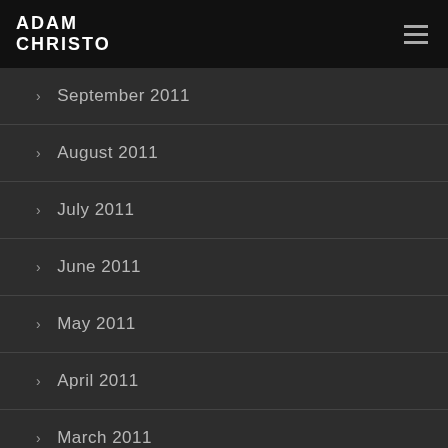ADAM CHRISTO
September 2011
August 2011
July 2011
June 2011
May 2011
April 2011
March 2011
February 2011